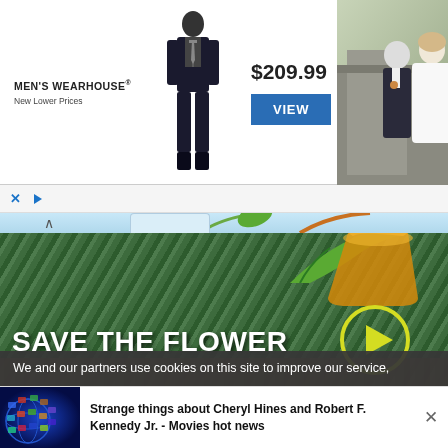[Figure (photo): Men's Wearhouse advertisement banner with suit image, $209.99 price, VIEW button, and wedding couple photo on right]
[Figure (photo): Save The Flower video banner with green foliage background, white bold text and yellow play circle button]
Louis Allwood just now
Callum Highway makes terrible
We and our partners use cookies on this site to improve our service,
[Figure (photo): Bottom promotional banner: globe made of TV screens image with text Strange things about Cheryl Hines and Robert F. Kennedy Jr. - Movies hot news]